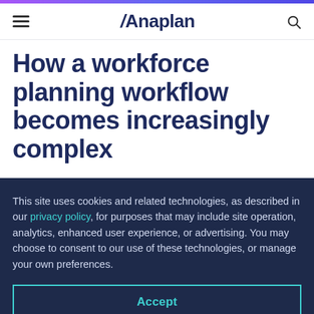Anaplan
How a workforce planning workflow becomes increasingly complex
This site uses cookies and related technologies, as described in our privacy policy, for purposes that may include site operation, analytics, enhanced user experience, or advertising. You may choose to consent to our use of these technologies, or manage your own preferences.
Accept
Decline
Manage settings